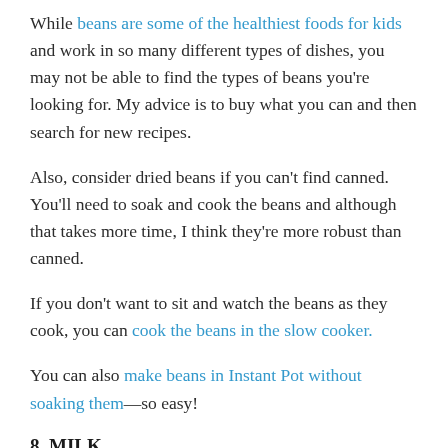While beans are some of the healthiest foods for kids and work in so many different types of dishes, you may not be able to find the types of beans you're looking for. My advice is to buy what you can and then search for new recipes.
Also, consider dried beans if you can't find canned. You'll need to soak and cook the beans and although that takes more time, I think they're more robust than canned.
If you don't want to sit and watch the beans as they cook, you can cook the beans in the slow cooker.
You can also make beans in Instant Pot without soaking them—so easy!
8. MILK
Cow's milk may be hard to find, but luckily